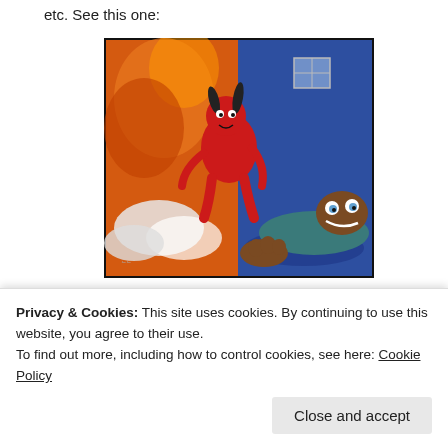etc. See this one:
[Figure (illustration): Digital illustration showing a red devil/demon with horns standing over a terrified man lying on the ground. The background is split between fiery orange on the left and blue on the right.]
Who no go fear?
Stygiophobia – fear of Hell, even fear of having fear is Phobophobia.
Privacy & Cookies: This site uses cookies. By continuing to use this website, you agree to their use.
To find out more, including how to control cookies, see here: Cookie Policy
[Close and accept button]